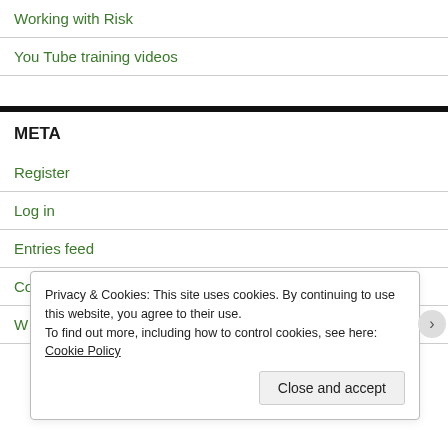Working with Risk
You Tube training videos
META
Register
Log in
Entries feed
Comments feed
Privacy & Cookies: This site uses cookies. By continuing to use this website, you agree to their use.
To find out more, including how to control cookies, see here: Cookie Policy
Close and accept